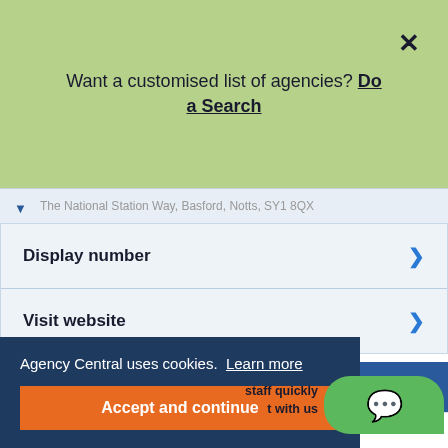Want a customised list of agencies? Do a Search
Display number
Visit website
ATA Recruitment
ATA Recruitment is an agency that provides permanent and contract staff to the engineering sector. With over 50 years experience from their offices in ...
Agency Central uses cookies. Learn more
Accept and continue
staff quickly ... with us
The Derby Conference Centre London Road, Derby,